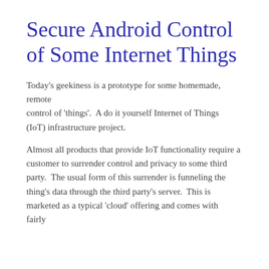Secure Android Control of Some Internet Things
Today's geekiness is a prototype for some homemade, remote control of 'things'.  A do it yourself Internet of Things (IoT) infrastructure project.
Almost all products that provide IoT functionality require a customer to surrender control and privacy to some third party.  The usual form of this surrender is funneling the thing's data through the third party's server.  This is marketed as a typical 'cloud' offering and comes with fairly